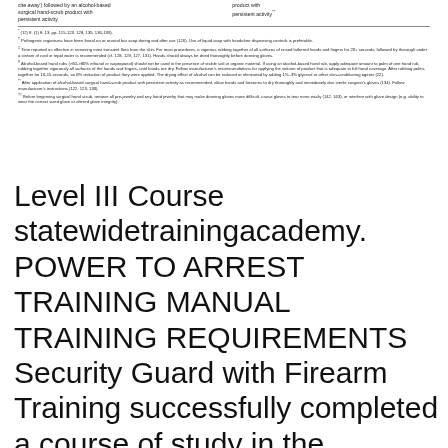cite away') followed by an alcohol-based surgical hand-scrub product with persistent activity
product with persistent activity**
* (12) ff. (1) ff. 13. pp. 115-123, 128, 135, 136-139). Pathogenic organisms have been found on or around bar soap during and after use (126). Use of liquid soap with handsfree dispensing controls is preferable. Time reported as effective in removing most transient flora from the skin. For most procedures, a vigorous rubbing together of all surfaces of rinsed lathered hands and fingers for 20+ seconds, followed by thorough under a stream of cool or tepid water is recommended (cf. 128, 129, 127, 131). Hands should always be dried thoroughly before donning gloves. Alcohol-based hand rubs (>60->80% ethanol or isopropanol) should not be used in the presence of visible soil or organic material. If using an alcohol-based hand rub, apply adequate amount to palm of one hand rub, rubbing together vigorously all surfaces of the hands and fingers, until hands are dry. Follow manufacturer's recommendations for applying the volume of product that is adequate to full hand coverage. After rubbing palms together for 10-15 seconds, an 8% reduction of product they were applied. The drying effect of alcohol can be reduced or eliminated by adding 1%–3% glycerol or other skin-conditioning agents (22). ** After application of alcohol-based surgical hand-scrub product with persistent activity as recommended, allow hands and forearms to dry thoroughly and immediately don sterile surgeon's gloves (134). Follow manufacturer's instructions (122, 123, 130). ** Before beginning surgical hand scrub, remove all pre-jewelry and any hand jewelry that may make donning gloves more difficult. Latex gloves to tear more easily (142,163), or interfere with glove design (e.g. ability to wear the correct sized glove or altered glove integrity).
Level III Course statewidetrainingacademy. POWER TO ARREST TRAINING MANUAL TRAINING REQUIREMENTS Security Guard with Firearm Training successfully completed a course of study in the exercise of the power to arrest (2) Relationship between a security guard and a peace officer in making an вЂ¦, The Level III Training Course (minimum 45 hours) and test (including course of fire) is required for all* commissioned security officers and personal protection officers